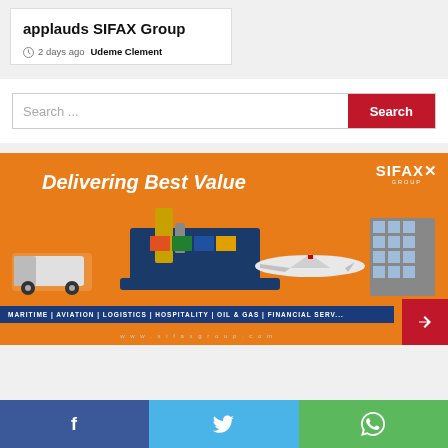applauds SIFAX Group
2 days ago  Udeme Clement
[Figure (screenshot): Search bar with text input field labeled 'Search ...' and a red 'Search' button]
[Figure (illustration): SIFAX Group advertisement banner with orange background, tagline 'Delivering Best Value', SIFAX logo top right, vehicles (truck, cargo ship, airplane, building), navy blue bottom bar listing MARITIME | AVIATION | LOGISTICS | HOSPITALITY | OIL & GAS | FINANCIAL SERV..., website www.sifaxgroup.com, red arrow button bottom right]
[Figure (infographic): Social media share bar with Facebook (blue), Twitter (light blue), and WhatsApp (green) buttons at bottom of page]